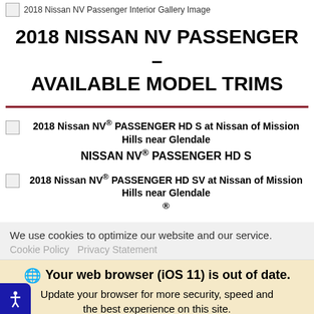[Figure (other): Broken image placeholder for 2018 Nissan NV Passenger Interior Gallery Image]
2018 Nissan NV Passenger Interior Gallery Image
2018 NISSAN NV PASSENGER – AVAILABLE MODEL TRIMS
[Figure (other): Broken image placeholder for 2018 Nissan NV PASSENGER HD S at Nissan of Mission Hills near Glendale]
2018 Nissan NV® PASSENGER HD S at Nissan of Mission Hills near Glendale
NISSAN NV® PASSENGER HD S
[Figure (other): Broken image placeholder for 2018 Nissan NV PASSENGER HD SV at Nissan of Mission Hills near Glendale]
2018 Nissan NV® PASSENGER HD SV at Nissan of Mission Hills near Glendale
We use cookies to optimize our website and our service.
Cookie Policy  Privacy Statement
Your web browser (iOS 11) is out of date. Update your browser for more security, speed and the best experience on this site.